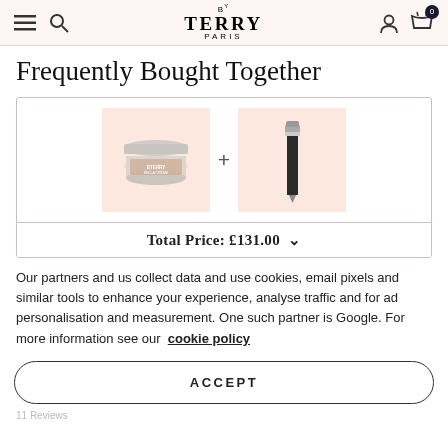BY TERRY PARIS — navigation header with hamburger menu, search, account, and cart (0)
Frequently Bought Together
[Figure (illustration): Two product images side by side with a plus sign between them: a cream jar (By Terry) on the left with pink background, and an eyeliner pencil on the right with pink background]
Total Price: £131.00 ∨
Our partners and us collect data and use cookies, email pixels and similar tools to enhance your experience, analyse traffic and for ad personalisation and measurement. One such partner is Google. For more information see our cookie policy
Customer Reviews
ACCEPT
11 Reviews